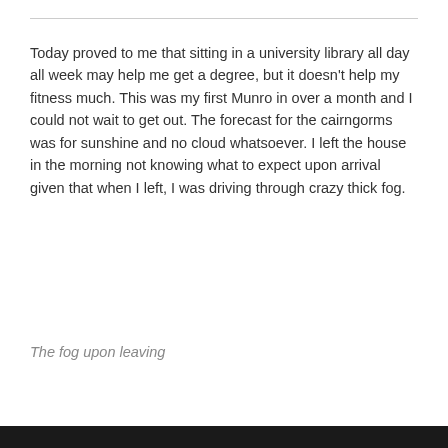Today proved to me that sitting in a university library all day all week may help me get a degree, but it doesn't help my fitness much. This was my first Munro in over a month and I could not wait to get out. The forecast for the cairngorms was for sunshine and no cloud whatsoever. I left the house in the morning not knowing what to expect upon arrival given that when I left, I was driving through crazy thick fog.
The fog upon leaving
When the fog hadn't lifted by the time I reached Perth I was beginning to doubt if I'd get any kind of a view on my way up the hills but as I reached Dunkeld the fog gave way to stunning early morning sunshine on the scintillating colours of